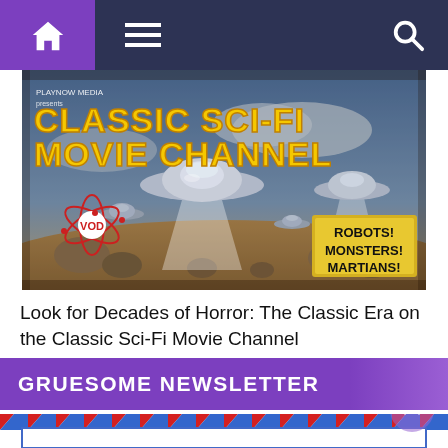[Figure (screenshot): Navigation bar with home icon (purple background), hamburger menu, and search icon on dark navy background]
[Figure (illustration): Classic Sci-Fi Movie Channel promotional banner showing flying saucers over an alien landscape with text 'PLAYNOW MEDIA PRESENTS CLASSIC SCI-FI MOVIE CHANNEL', a VOD atomic logo, and a sign reading 'ROBOTS! MONSTERS! MARTIANS!']
Look for Decades of Horror: The Classic Era on the Classic Sci-Fi Movie Channel
GRUESOME NEWSLETTER
[Figure (illustration): Bottom portion of page showing airmail envelope border strip in red, white and blue diagonal stripes, with the top of an envelope visible, and a purple scroll-to-top circular button]